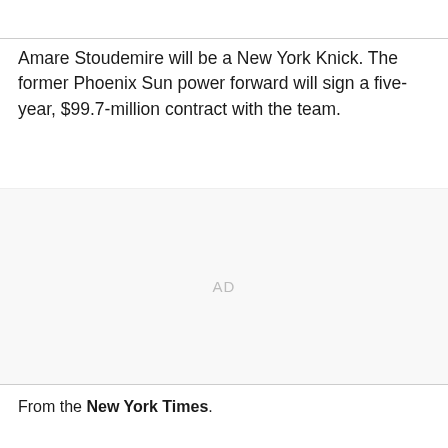Amare Stoudemire will be a New York Knick. The former Phoenix Sun power forward will sign a five-year, $99.7-million contract with the team.
[Figure (other): Advertisement placeholder area labeled AD]
From the New York Times.